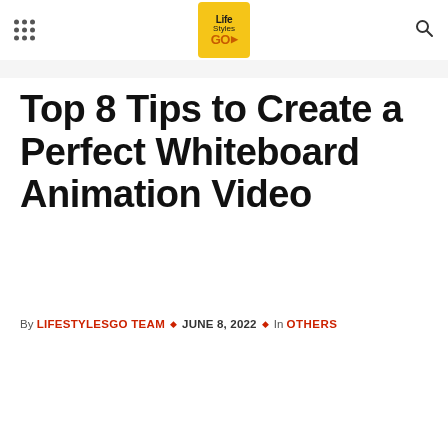LifeStylesGO navigation header with grid menu icon, logo, and search icon
Top 8 Tips to Create a Perfect Whiteboard Animation Video
By LIFESTYLESGO TEAM · JUNE 8, 2022 · In OTHERS